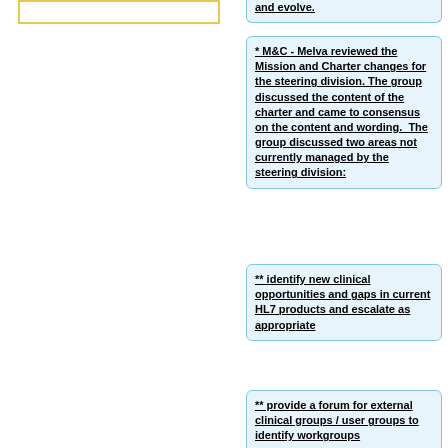[Figure (other): Yellow-bordered empty box in left column]
* M&C - Melva reviewed the Mission and Charter changes for the steering division. The group discussed the content of the charter and came to consensus on the content and wording.  The group discussed two areas not currently managed by the steering division:
** identify new clinical opportunities and gaps in current HL7 products and escalate as appropriate
** provide a forum for external clinical groups / user groups to identify workgroups with which they...